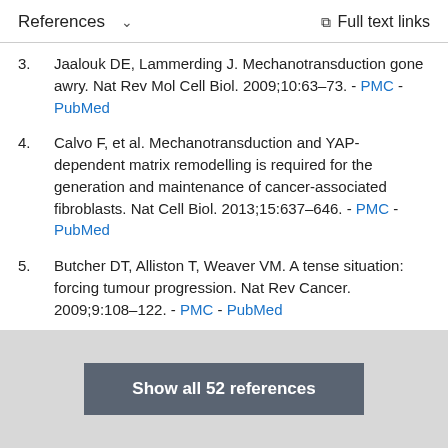References   ∨   Full text links
3. Jaalouk DE, Lammerding J. Mechanotransduction gone awry. Nat Rev Mol Cell Biol. 2009;10:63–73. - PMC - PubMed
4. Calvo F, et al. Mechanotransduction and YAP-dependent matrix remodelling is required for the generation and maintenance of cancer-associated fibroblasts. Nat Cell Biol. 2013;15:637–646. - PMC - PubMed
5. Butcher DT, Alliston T, Weaver VM. A tense situation: forcing tumour progression. Nat Rev Cancer. 2009;9:108–122. - PMC - PubMed
Show all 52 references